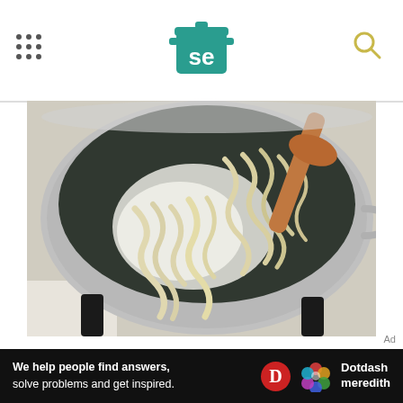SE logo header with navigation dots and search icon
[Figure (photo): Close-up photo of pasta noodles being stirred in a large silver pot on a stove burner, with an orange/brown wooden spoon, starchy water visible]
If you, like me, end up taking too much time by doing silly things like taking photos, the sauce will
Ad — We help people find answers, solve problems and get inspired. Dotdash meredith